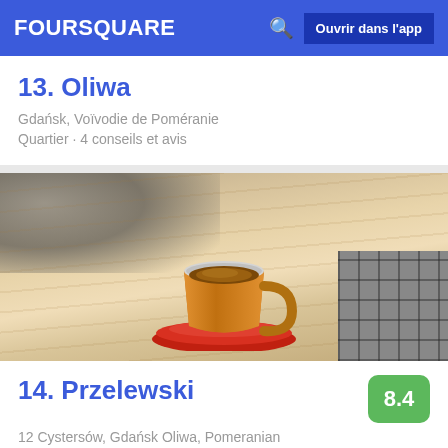FOURSQUARE — Ouvrir dans l'app
13. Oliwa
Gdańsk, Voïvodie de Poméranie
Quartier · 4 conseils et avis
[Figure (photo): Photo of a coffee cup with espresso on a red saucer placed on a light wooden table, with a dark stone surface in the upper left and a grid tile surface in the lower right corner.]
14. Przelewski
8.4
12 Cystersów, Gdańsk Oliwa, Pomeranian
Coffee Shop · Oliwa · 4 conseils et avis
Vyacheslav Dubovitskiy: Usually